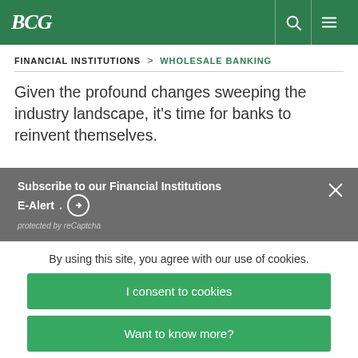BCG
FINANCIAL INSTITUTIONS  >  WHOLESALE BANKING
Given the profound changes sweeping the industry landscape, it's time for banks to reinvent themselves.
Subscribe to our Financial Institutions E-Alert . →
protected by reCaptcha
By using this site, you agree with our use of cookies.
I consent to cookies
Want to know more?
Read our Cookie Policy